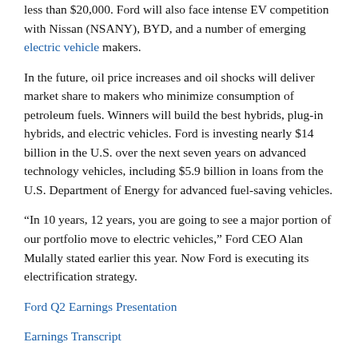less than $20,000. Ford will also face intense EV competition with Nissan (NSANY), BYD, and a number of emerging electric vehicle makers.
In the future, oil price increases and oil shocks will deliver market share to makers who minimize consumption of petroleum fuels. Winners will build the best hybrids, plug-in hybrids, and electric vehicles. Ford is investing nearly $14 billion in the U.S. over the next seven years on advanced technology vehicles, including $5.9 billion in loans from the U.S. Department of Energy for advanced fuel-saving vehicles.
“In 10 years, 12 years, you are going to see a major portion of our portfolio move to electric vehicles,” Ford CEO Alan Mulally stated earlier this year. Now Ford is executing its electrification strategy.
Ford Q2 Earnings Presentation
Earnings Transcript
By John Addison. John Addison publishes the Clean Fleet Report and speaks at conferences. He is the author of the new book – Save Gas, Save the Planet – now selling at